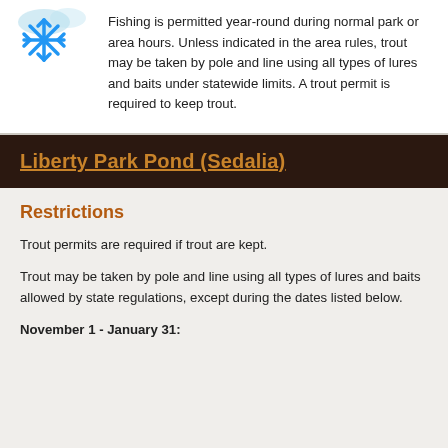[Figure (illustration): Snowflake icon with blue color and fish/water imagery above, representing winter fishing.]
Fishing is permitted year-round during normal park or area hours. Unless indicated in the area rules, trout may be taken by pole and line using all types of lures and baits under statewide limits. A trout permit is required to keep trout.
Liberty Park Pond (Sedalia)
Restrictions
Trout permits are required if trout are kept.
Trout may be taken by pole and line using all types of lures and baits allowed by state regulations, except during the dates listed below.
November 1 - January 31: